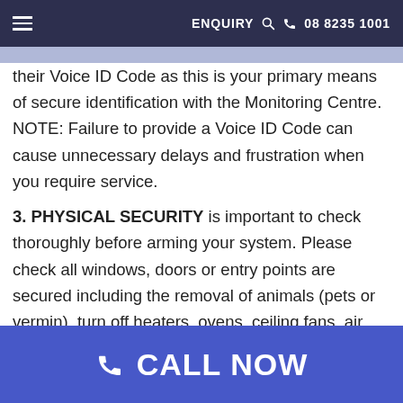ENQUIRY  🔍  📞  08 8235 1001
their Voice ID Code as this is your primary means of secure identification with the Monitoring Centre. NOTE: Failure to provide a Voice ID Code can cause unnecessary delays and frustration when you require service.
3. PHYSICAL SECURITY is important to check thoroughly before arming your system. Please check all windows, doors or entry points are secured including the removal of animals (pets or vermin), turn off heaters, ovens, ceiling fans, air conditioners or remove any items that are hanging or that can move to ensure a stable environment for your equipment to monitor
📞 CALL NOW